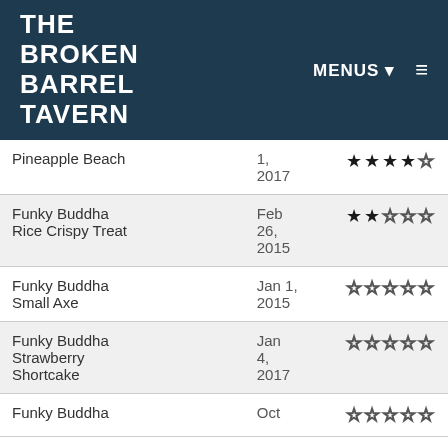THE BROKEN BARREL TAVERN | MENUS ▾ ≡
| Name | Date | Rating |
| --- | --- | --- |
| Pineapple Beach | 1, 2017 | ★★★★☆ |
| Funky Buddha Rice Crispy Treat | Feb 26, 2015 | ★★☆☆☆ |
| Funky Buddha Small Axe | Jan 1, 2015 | ☆☆☆☆☆ |
| Funky Buddha Strawberry Shortcake | Jan 4, 2017 | ☆☆☆☆☆ |
| Funky Buddha | Oct | ☆☆☆☆☆ |